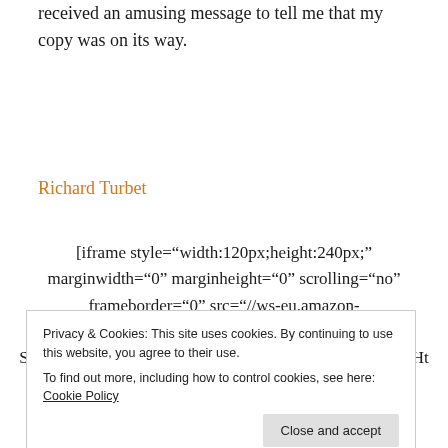received an amusing message to tell me that my copy was on its way.
Richard Turbet
[iframe style="width:120px;height:240px;" marginwidth="0" marginheight="0" scrolling="no" frameborder="0" src="//ws-eu.amazon-adsystem.com/widgets/q?ServiceVersion=20070822&OneJS=1&Operation=GetAdHt
Privacy & Cookies: This site uses cookies. By continuing to use this website, you agree to their use.
To find out more, including how to control cookies, see here: Cookie Policy
Close and accept
frameborder="0" src="//ws-eu.amazon